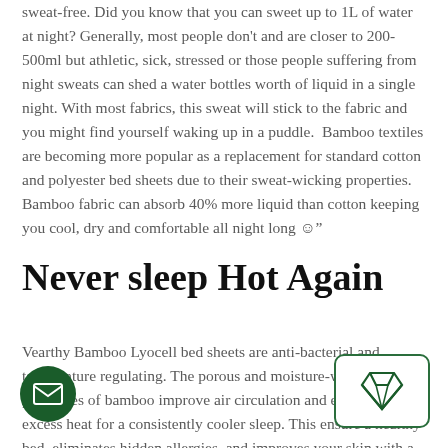sweat-free. Did you know that you can sweet up to 1L of water at night? Generally, most people don't and are closer to 200-500ml but athletic, sick, stressed or those people suffering from night sweats can shed a water bottles worth of liquid in a single night. With most fabrics, this sweat will stick to the fabric and you might find yourself waking up in a puddle.  Bamboo textiles are becoming more popular as a replacement for standard cotton and polyester bed sheets due to their sweat-wicking properties. Bamboo fabric can absorb 40% more liquid than cotton keeping you cool, dry and comfortable all night long ☺"
Never sleep Hot Again
Vearthy Bamboo Lyocell bed sheets are anti-bacterial and temperature regulating. The porous and moisture-wicking properties of bamboo improve air circulation and eliminate excess heat for a consistently cooler sleep. This ensure a healthy bed, eliminates hidden allergies, and improves your skin with a fresh, cool